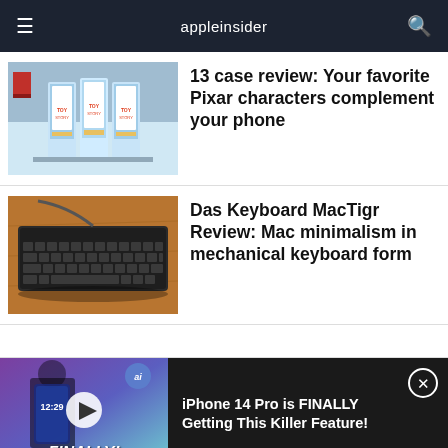appleinsider
[Figure (photo): Toy Story iPhone 13 cases product photo]
13 case review: Your favorite Pixar characters complement your phone
[Figure (photo): Das Keyboard MacTigr mechanical keyboard on wooden desk]
Das Keyboard MacTigr Review: Mac minimalism in mechanical keyboard form
[Figure (screenshot): Video thumbnail: iPhone 14 Pro is FINALLY Getting This Killer Feature!]
iPhone 14 Pro is FINALLY Getting This Killer Feature!